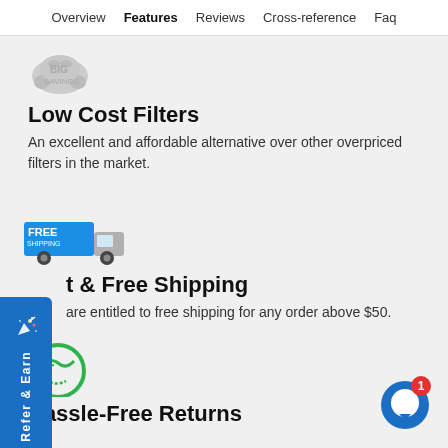Overview | Features | Reviews | Cross-reference | Faq
[Figure (illustration): Partially visible grey piggy bank / discount badge icon]
Low Cost Filters
An excellent and affordable alternative over other overpriced filters in the market.
[Figure (illustration): FREE SHIPPING delivery truck badge icon]
[Figure (illustration): Refer & Earn blue side button with party popper icon]
t & Free Shipping
are entitled to free shipping for any order above $50.
[Figure (illustration): Green circular return/recycle icon]
Hassle-Free Returns
[Figure (illustration): Blue chat bubble button with red notification badge showing 1]